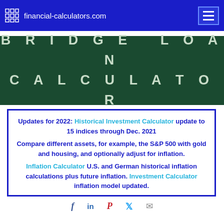financial-calculators.com
BRIDGE LOAN CALCULATOR
Updates for 2022: Historical Investment Calculator update to 15 indices through Dec. 2021

Compare different assets, for example, the S&P 500 with gold and housing, and optionally adjust for inflation.

Inflation Calculator U.S. and German historical inflation calculations plus future inflation. Investment Calculator inflation model updated.